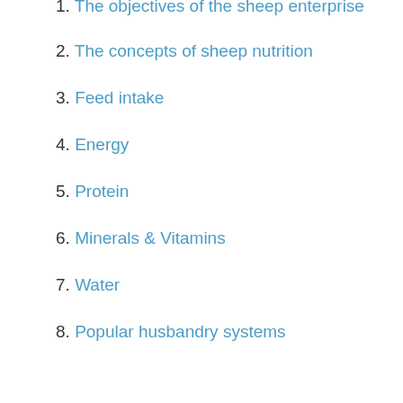1. The objectives of the sheep enterprise
2. The concepts of sheep nutrition
3. Feed intake
4. Energy
5. Protein
6. Minerals & Vitamins
7. Water
8. Popular husbandry systems
Minerals & Vitamins for Sheep
There is something of a stigma attached to the commercial trade in mineral and vitamin supplements for livestock. This has been historically fuelled by the pressure mineral sales personnel tend to imply by reeling off a long list of the dire effects of various mineral...